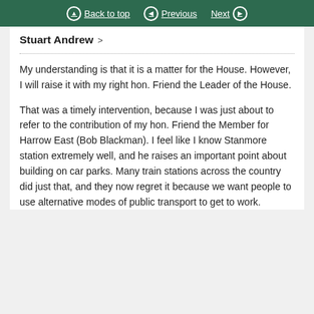Back to top   Previous   Next
Stuart Andrew >
My understanding is that it is a matter for the House. However, I will raise it with my right hon. Friend the Leader of the House.
That was a timely intervention, because I was just about to refer to the contribution of my hon. Friend the Member for Harrow East (Bob Blackman). I feel like I know Stanmore station extremely well, and he raises an important point about building on car parks. Many train stations across the country did just that, and they now regret it because we want people to use alternative modes of public transport to get to work.